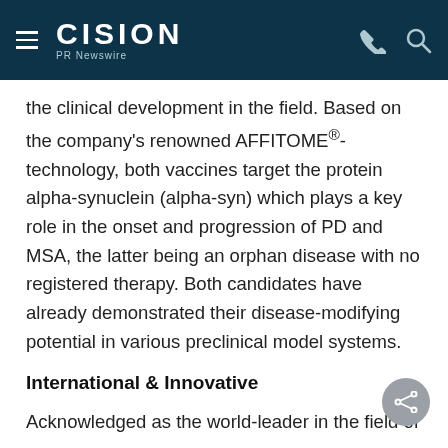CISION PR Newswire
the clinical development in the field. Based on the company's renowned AFFITOME®-technology, both vaccines target the protein alpha-synuclein (alpha-syn) which plays a key role in the onset and progression of PD and MSA, the latter being an orphan disease with no registered therapy. Both candidates have already demonstrated their disease-modifying potential in various preclinical model systems.
International & Innovative
Acknowledged as the world-leader in the field of